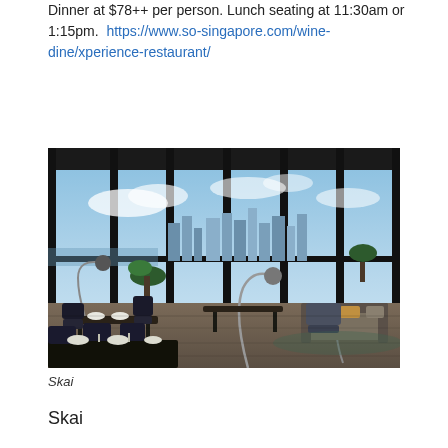Dinner at $78++ per person.  Lunch seating at 11:30am or 1:15pm.  https://www.so-singapore.com/wine-dine/xperience-restaurant/
[Figure (photo): Interior of Skai restaurant with floor-to-ceiling windows overlooking Singapore city skyline. Dark dining tables with chairs in foreground, lounge seating area on right, and arc floor lamps throughout. Blue sky with clouds visible outside.]
Skai
Skai